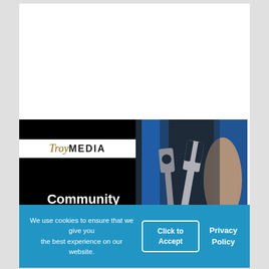[Figure (illustration): Troy Media Community News Outlet Toolkit promotional image. Left half: black background with Troy Media logo (stylized text) at top and bold white text reading 'Community News Outlet Toolkit'. Right half: photograph of a person in blue overalls holding a wrench/spanner tool.]
We use cookies to ensure that we give you the best experience on our website.
Click to Accept
Privacy Policy